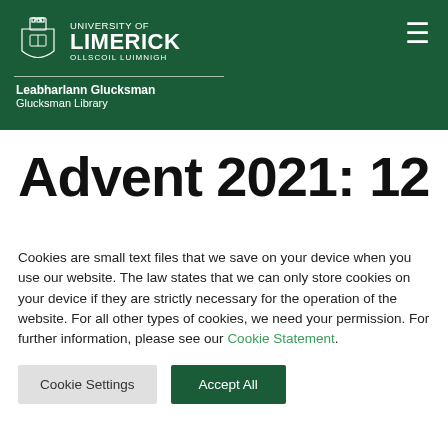University of Limerick | OLLSCOIL LUIMNIGH | Leabharlann Glucksman | Glucksman Library
Advent 2021: 12
Cookies are small text files that we save on your device when you use our website. The law states that we can only store cookies on your device if they are strictly necessary for the operation of the website. For all other types of cookies, we need your permission. For further information, please see our Cookie Statement.
Cookie Settings
Accept All